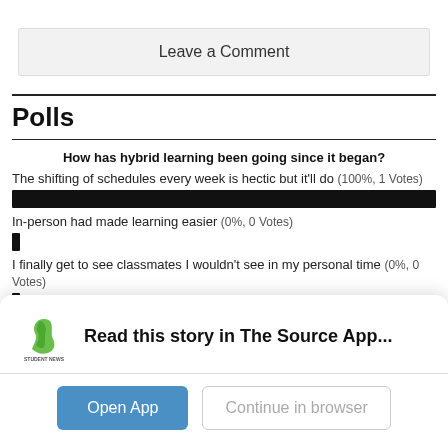Leave a Comment
Polls
How has hybrid learning been going since it began?
The shifting of schedules every week is hectic but it'll do (100%, 1 Votes)
In-person had made learning easier (0%, 0 Votes)
I finally get to see classmates I wouldn't see in my personal time (0%, 0 Votes)
Read this story in The Source App...
Open App
Continue in browser